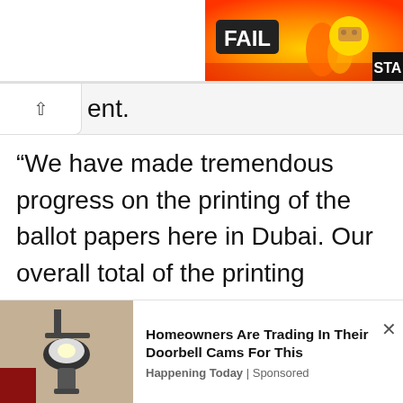[Figure (screenshot): Advertisement banner with FAIL text and cartoon character with flames on orange/red background, with STA text in dark box at right]
ent.
“We have made tremendous progress on the printing of the ballot papers here in Dubai. Our overall total of the printing progress in terms of percentage is now at 71 percent from yesterday’s 65 percent,” Ms Bwalya disclosed.
[Figure (screenshot): Advertisement: Homeowners Are Trading In Their Doorbell Cams For This. Happening Today | Sponsored. Image shows outdoor wall lamp.]